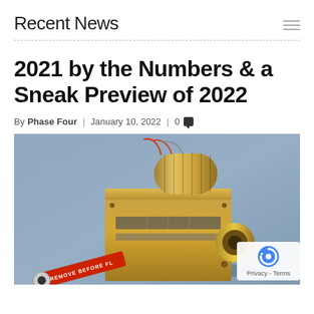Recent News
2021 by the Numbers & a Sneak Preview of 2022
By Phase Four | January 10, 2022 | 0
[Figure (photo): A gold-colored spacecraft thruster or propulsion device with a cylindrical component on top and a nozzle on the front, placed on a gray surface. A red 'REMOVE BEFORE FLIGHT' tag is visible at the bottom left.]